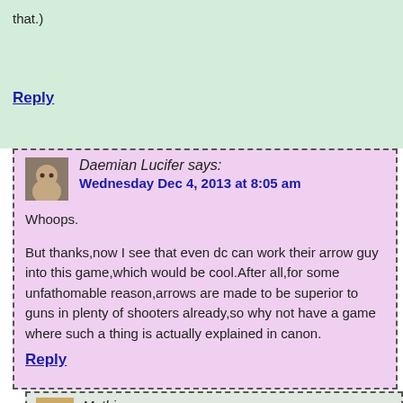that.)
Reply
Daemian Lucifer says:
Wednesday Dec 4, 2013 at 8:05 am
Whoops.

But thanks,now I see that even dc can work their arrow guy into this game,which would be cool.After all,for some unfathomable reason,arrows are made to be superior to guns in plenty of shooters already,so why not have a game where such a thing is actually explained in canon.
Reply
Mathias says:
Wednesday Dec 4, 2013 at 8:27 am